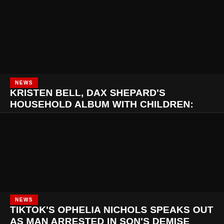[Figure (photo): Dark/black image area for first news article]
NEWS
KRISTEN BELL, DAX SHEPARD'S HOUSEHOLD ALBUM WITH CHILDREN: PICTURES
[Figure (photo): Dark/black image area for second news article]
NEWS
TIKTOK'S OPHELIA NICHOLS SPEAKS OUT AS MAN ARRESTED IN SON'S DEMISE